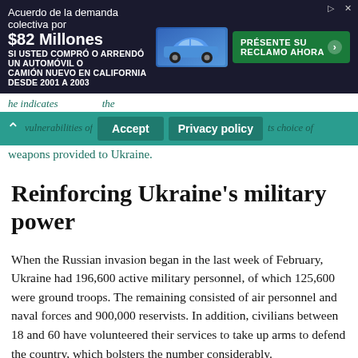[Figure (infographic): Advertisement banner: Acuerdo de la demanda colectiva por $82 Millones, SI USTED COMPRÓ O ARRENDÓ UN AUTOMÓVIL O CAMIÓN NUEVO EN CALIFORNIA DESDE 2001 A 2003, with a car image and a green button 'PRÉSENTE SU RECLAMO AHORA']
...he indicates ... the vulnerabilities of ... la ... ts choice of weapons provided to Ukraine.
Reinforcing Ukraine's military power
When the Russian invasion began in the last week of February, Ukraine had 196,600 active military personnel, of which 125,600 were ground troops. The remaining consisted of air personnel and naval forces and 900,000 reservists. In addition, civilians between 18 and 60 have volunteered their services to take up arms to defend the country, which bolsters the number considerably.